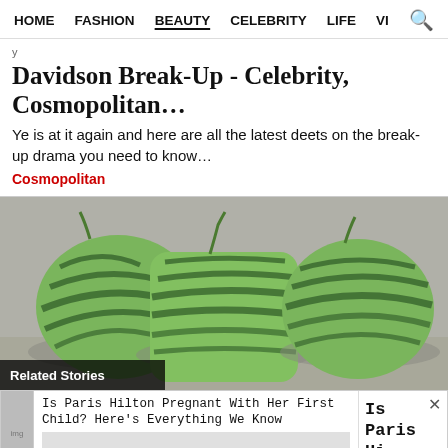HOME   FASHION   BEAUTY   CELEBRITY   LIFE   VI   [search]
Davidson Break-Up - Celebrity, Cosmopolitan…
Ye is at it again and here are all the latest deets on the break-up drama you need to know…
Cosmopolitan
[Figure (photo): Three distinctly shaped watermelons in plastic containers on a shelf — a heart-shaped one on the left, a cubic/square one in the center, and a round one on the right. A 'Related Stories' label overlays the bottom-left corner.]
Related Stories
Is Paris Hilton Pregnant With Her First Child? Here's Everything We Know
Is Paris Hi...